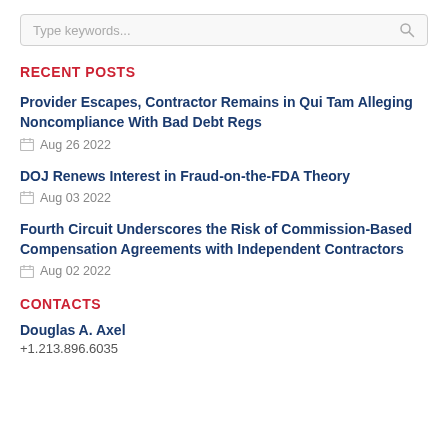Type keywords...
RECENT POSTS
Provider Escapes, Contractor Remains in Qui Tam Alleging Noncompliance With Bad Debt Regs
Aug 26 2022
DOJ Renews Interest in Fraud-on-the-FDA Theory
Aug 03 2022
Fourth Circuit Underscores the Risk of Commission-Based Compensation Agreements with Independent Contractors
Aug 02 2022
CONTACTS
Douglas A. Axel
+1.213.896.6035